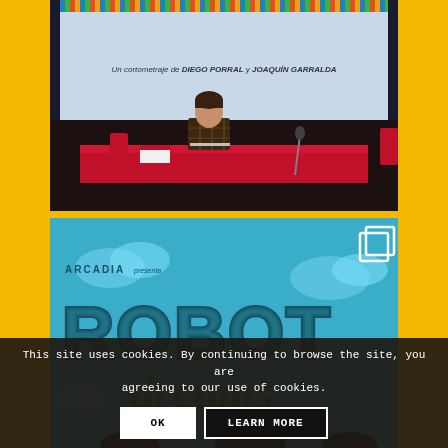[Figure (photo): Photo of a man sitting at a red table on a stage/auditorium with a microphone, in front of a projection screen showing text 'Un cortometraje de DIEGO PORRAL y JOAQUÍN GARRALDA'. Audience chairs visible. Dark theater setting.]
[Figure (screenshot): Screenshot of a website with 'ARCADIA presenta' text and large stylized title 'ROBOT dreams' in teal/dark teal letters on a blue sky background with clouds. A copy/share icon is visible in the top right corner.]
This site uses cookies. By continuing to browse the site, you are agreeing to our use of cookies.
OK
LEARN MORE